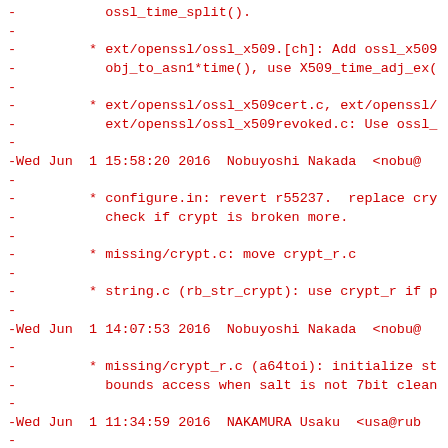Changelog diff showing git log entries with commit messages related to Ruby OpenSSL and crypt changes, dated Wed Jun 1 2016.